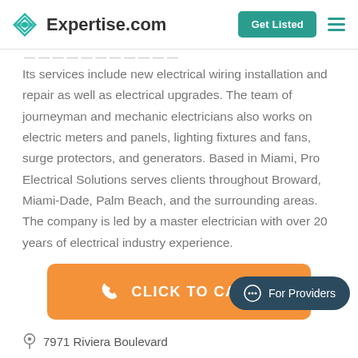Expertise.com | Get Listed
Its services include new electrical wiring installation and repair as well as electrical upgrades. The team of journeyman and mechanic electricians also works on electric meters and panels, lighting fixtures and fans, surge protectors, and generators. Based in Miami, Pro Electrical Solutions serves clients throughout Broward, Miami-Dade, Palm Beach, and the surrounding areas. The company is led by a master electrician with over 20 years of electrical industry experience.
[Figure (other): Orange call-to-action button with phone icon and text CLICK TO CALL]
[Figure (other): Dark teal For Providers chat bubble button in bottom right corner]
7971 Riviera Boulevard